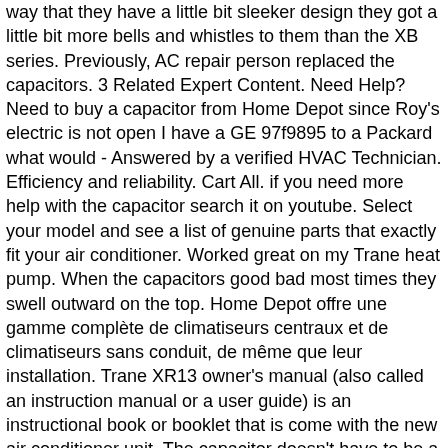way that they have a little bit sleeker design they got a little bit more bells and whistles to them than the XB series. Previously, AC repair person replaced the capacitors. 3 Related Expert Content. Need Help? Need to buy a capacitor from Home Depot since Roy's electric is not open I have a GE 97f9895 to a Packard what would - Answered by a verified HVAC Technician. Efficiency and reliability. Cart All. if you need more help with the capacitor search it on youtube. Select your model and see a list of genuine parts that exactly fit your air conditioner. Worked great on my Trane heat pump. When the capacitors good bad most times they swell outward on the top. Home Depot offre une gamme complète de climatiseurs centraux et de climatiseurs sans conduit, de même que leur installation. Trane XR13 owner's manual (also called an instruction manual or a user guide) is an instructional book or booklet that is come with the new air conditioner unit. The capacitor doesn't have to be a Trane part, just the same mfd & voltage rating. TRANE Used AC Condenser 2TTR3024A1000AA 1C. I suspect the humming noise is coming from the contactor which is powered by the low voltage transformer in the indoor unit. Look on the panel inside door, determine the fault(s) and correct them, capacitors don't hum - likely the contactor getting 24 volts of power so I'm thinking thats good. 80 items. However, today that hasn't worked. We're going to talk about the Trane XR16 series home air conditioner. if you need more help with the capacitor search it on youtube. XR13 The